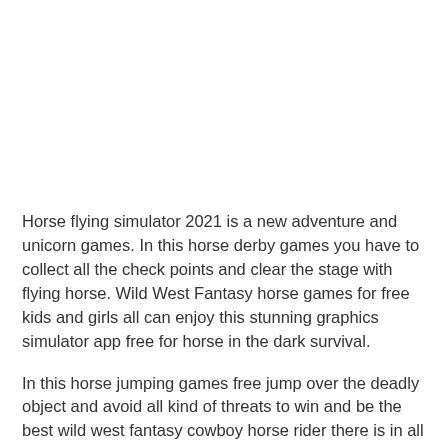Horse flying simulator 2021 is a new adventure and unicorn games. In this horse derby games you have to collect all the check points and clear the stage with flying horse. Wild West Fantasy horse games for free kids and girls all can enjoy this stunning graphics simulator app free for horse in the dark survival.
In this horse jumping games free jump over the deadly object and avoid all kind of threats to win and be the best wild west fantasy cowboy horse rider there is in all the west. Learn new abilities to be the best of all the cow boys. Complete all quest and task in this derby simulation to win different prices in the